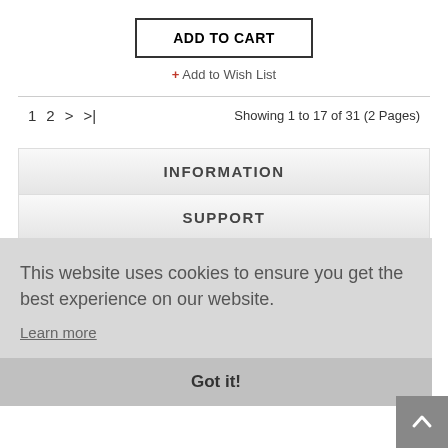ADD TO CART
+ Add to Wish List
1  2  >  >|   Showing 1 to 17 of 31 (2 Pages)
INFORMATION
SUPPORT
This website uses cookies to ensure you get the best experience on our website. Learn more
Got it!